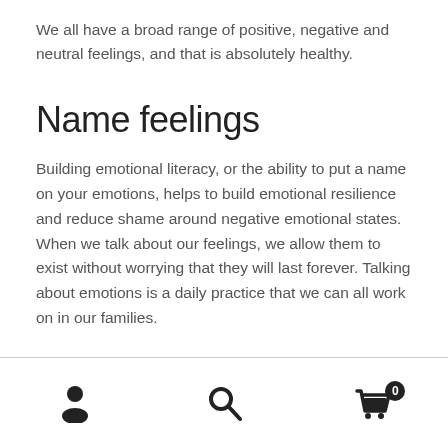We all have a broad range of positive, negative and neutral feelings, and that is absolutely healthy.
Name feelings
Building emotional literacy, or the ability to put a name on your emotions, helps to build emotional resilience and reduce shame around negative emotional states. When we talk about our feelings, we allow them to exist without worrying that they will last forever. Talking about emotions is a daily practice that we can all work on in our families.
Navigation icons: person, search, cart (0)